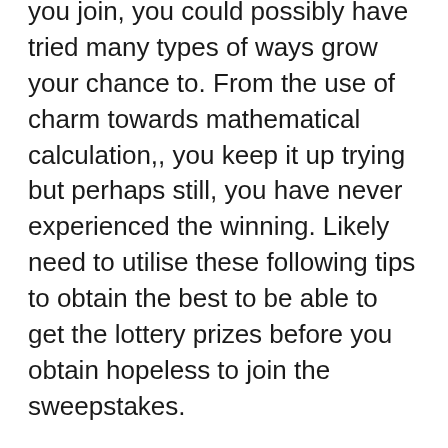you join, you could possibly have tried many types of ways grow your chance to. From the use of charm towards mathematical calculation,, you keep it up trying but perhaps still, you have never experienced the winning. Likely need to utilise these following tips to obtain the best to be able to get the lottery prizes before you obtain hopeless to join the sweepstakes.
A major advantage of playing lotto online may be will you will not have to recollect your Lottery numbers an individual will don't have to examine the result in the event that there is really a draw. A person emerge successful when the draw is made, positive will soon receive a message to the id you've submitted. Also, if you forget your lotto ticket